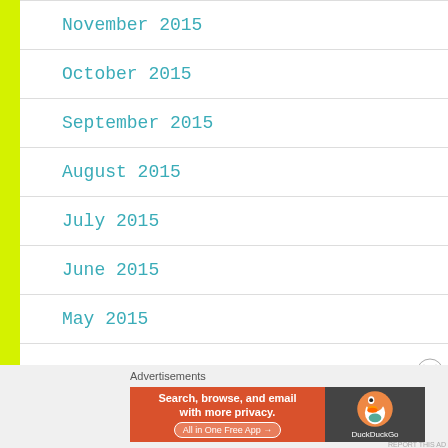November 2015
October 2015
September 2015
August 2015
July 2015
June 2015
May 2015
[Figure (other): DuckDuckGo advertisement banner: 'Search, browse, and email with more privacy. All in One Free App' with DuckDuckGo logo on dark background]
Advertisements